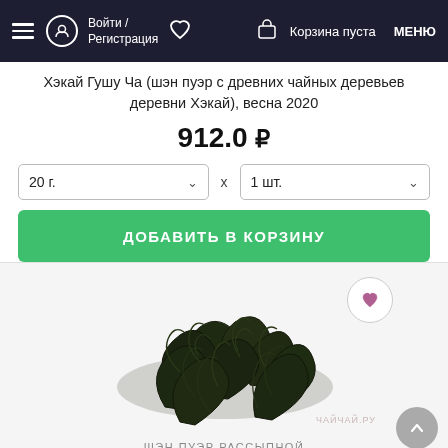Войти / Регистрация  Корзина пуста  МЕНЮ
Хэкай Гушу Ча (шэн пуэр с древних чайных деревьев деревни Хэкай), весна 2020
912.0 ₽
20 г.  x  1 шт.
ДОБАВИТЬ В КОРЗИНУ
[Figure (photo): Loose leaf dark tea (sheng puer) photographed on white background with watermark ЧАЙЧАЙ.РУ]
ШЭН ПУЭР РАССЫПНОЙ